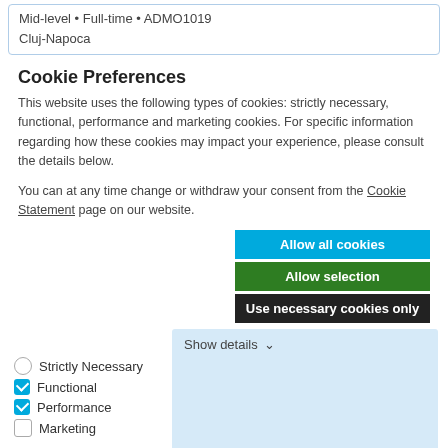Mid-level • Full-time • ADMO1019
Cluj-Napoca
Cookie Preferences
This website uses the following types of cookies: strictly necessary, functional, performance and marketing cookies. For specific information regarding how these cookies may impact your experience, please consult the details below.
You can at any time change or withdraw your consent from the Cookie Statement page on our website.
Allow all cookies
Allow selection
Use necessary cookies only
Strictly Necessary
Functional
Performance
Marketing
Show details ∨